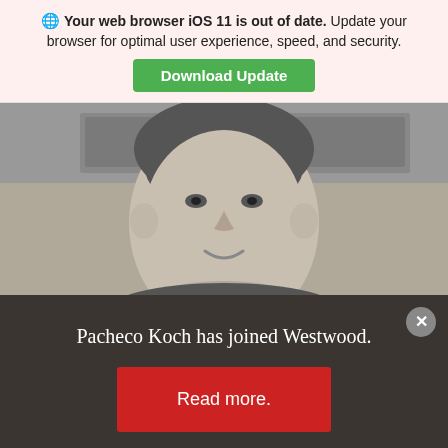Your web browser iOS 11 is out of date. Update your browser for optimal user experience, speed, and security.
Download Update
[Figure (photo): Black and white portrait photo of a smiling man (Pacheco Koch), cropped to show face and shoulders, with a blurred background.]
Pacheco Koch has joined Westwood.
Read more.